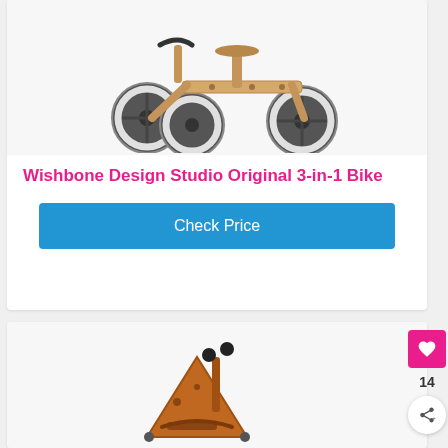[Figure (photo): Wishbone Design Studio Original 3-in-1 Bike - wooden balance bike with white-rimmed black wheels, shown in tricycle configuration]
Wishbone Design Studio Original 3-in-1 Bike
Check Price
[Figure (photo): Second product - wooden balance bike in orange/brown color with black handlebar grips, shown partially]